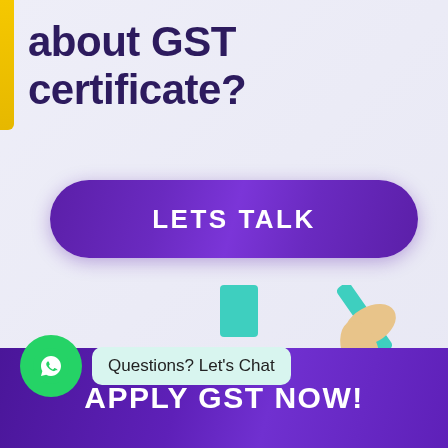about GST certificate?
LETS TALK
[Figure (illustration): Illustrated hands with various GST-related items including documents, tablet showing GST, and decorative elements in teal and orange colors]
Questions? Let's Chat
APPLY GST NOW!